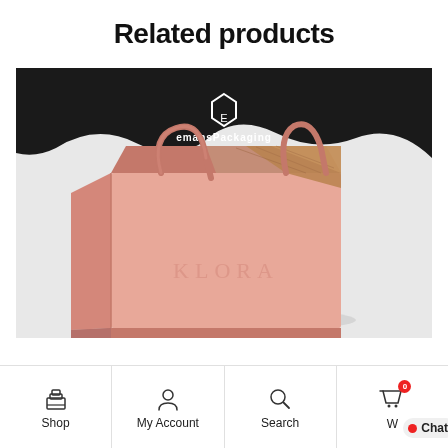Related products
[Figure (photo): Pink luxury shopping bag with ribbon handle and rose gold foil accents, displayed against a light background. EmansPackaging logo and branding visible at the top of the image.]
Shop | My Account | Search | W | Chat